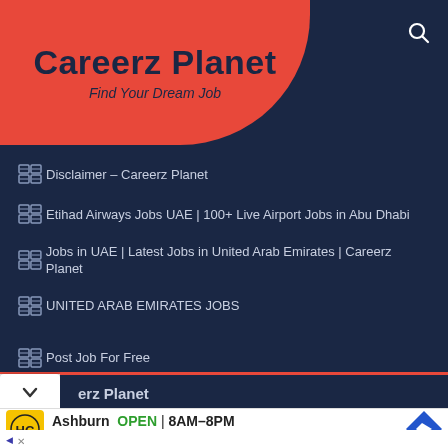Careerz Planet
Find Your Dream Job
Disclaimer – Careerz Planet
Etihad Airways Jobs UAE | 100+ Live Airport Jobs in Abu Dhabi
Jobs in UAE | Latest Jobs in United Arab Emirates | Careerz Planet
UNITED ARAB EMIRATES JOBS
Post Job For Free
Privacy Policy
[Figure (screenshot): Browser navigation bar showing Careerz Planet website with a chevron/down button and partial page title 'erz Planet']
[Figure (screenshot): Advertisement banner: HC logo, Ashburn OPEN 8AM-8PM, 44110 Ashburn Shopping Plaza 1., navigation arrow icon]